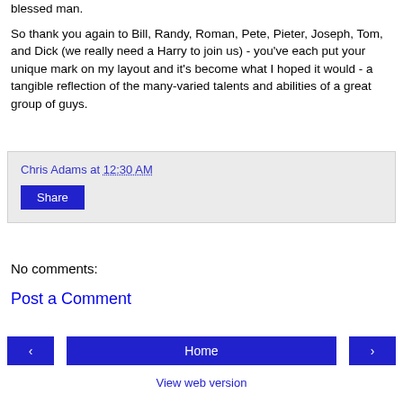blessed man.

So thank you again to Bill, Randy, Roman, Pete, Pieter, Joseph, Tom, and Dick (we really need a Harry to join us) - you've each put your unique mark on my layout and it's become what I hoped it would - a tangible reflection of the many-varied talents and abilities of a great group of guys.
Chris Adams at 12:30 AM
Share
No comments:
Post a Comment
< Home >
View web version